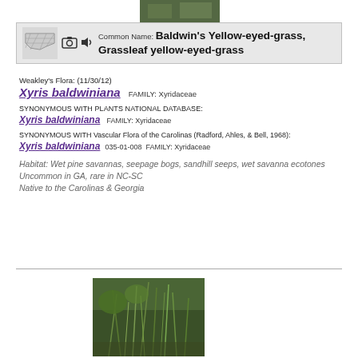[Figure (photo): Top partial photo of plant, cropped at top of page]
Common Name: Baldwin's Yellow-eyed-grass, Grassleaf yellow-eyed-grass
Weakley's Flora: (11/30/12)
Xyris baldwiniana   FAMILY: Xyridaceae
SYNONYMOUS WITH PLANTS National Database:
Xyris baldwiniana   FAMILY: Xyridaceae
SYNONYMOUS WITH Vascular Flora of the Carolinas (Radford, Ahles, & Bell, 1968):
Xyris baldwiniana 035-01-008   FAMILY: Xyridaceae
Habitat: Wet pine savannas, seepage bogs, sandhill seeps, wet savanna ecotones
Uncommon in GA, rare in NC-SC
Native to the Carolinas & Georgia
[Figure (photo): Photo of Xyris baldwiniana plant in its natural habitat showing grass-like stems]